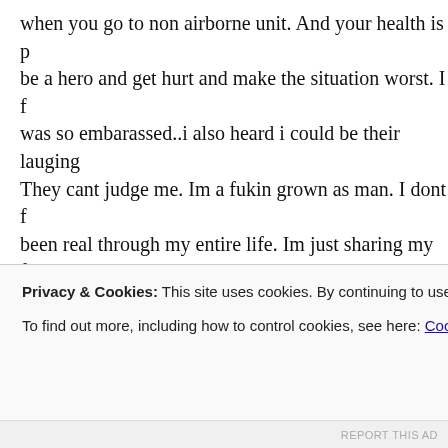when you go to non airborne unit. And your health is p be a hero and get hurt and make the situation worst. I f was so embarassed..i also heard i could be their lauging They cant judge me. Im a fukin grown as man. I dont f been real through my entire life. Im just sharing my fee folks/buddies. Be prepared, its so much unlucky if you want to jump b there. Now i have wait for my new order. I loose my H loose that too. I dont have bonus. One of my buddy is s much worried about it. Hes changed since he got here. looks like hes thinking too much about it and he is. Hes about the whole training. But jes not gonna quit just be HRAP and bonus. Folks, money doenst buy yor life..yo
Privacy & Cookies: This site uses cookies. By continuing to use this website, you agree to their use.
To find out more, including how to control cookies, see here: Cookie Policy
Close and accept
REPORT THIS AD